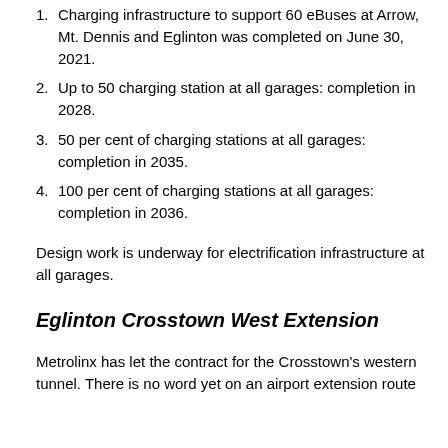1. Charging infrastructure to support 60 eBuses at Arrow, Mt. Dennis and Eglinton was completed on June 30, 2021.
2. Up to 50 charging station at all garages: completion in 2028.
3. 50 per cent of charging stations at all garages: completion in 2035.
4. 100 per cent of charging stations at all garages: completion in 2036.
Design work is underway for electrification infrastructure at all garages.
Eglinton Crosstown West Extension
Metrolinx has let the contract for the Crosstown's western tunnel. There is no word yet on an airport extension route